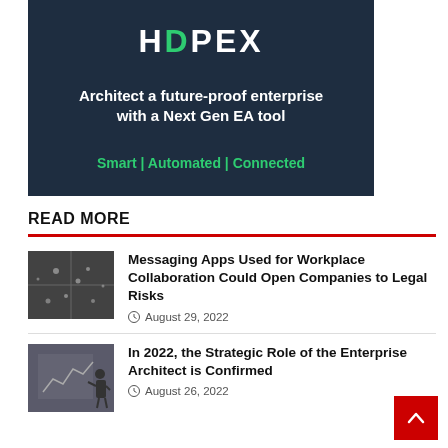[Figure (illustration): HDPEX advertisement banner on dark navy background. Logo text 'HDPEX' with green D letter. Tagline: 'Architect a future-proof enterprise with a Next Gen EA tool'. Subtitle: 'Smart | Automated | Connected' in green.]
READ MORE
[Figure (photo): Aerial view photo of people walking in busy intersection or public space, used as thumbnail for article about messaging apps.]
Messaging Apps Used for Workplace Collaboration Could Open Companies to Legal Risks
August 29, 2022
[Figure (photo): Photo of person standing in front of a wall with complex diagrams or charts, used as thumbnail for article about enterprise architect role.]
In 2022, the Strategic Role of the Enterprise Architect is Confirmed
August 26, 2022